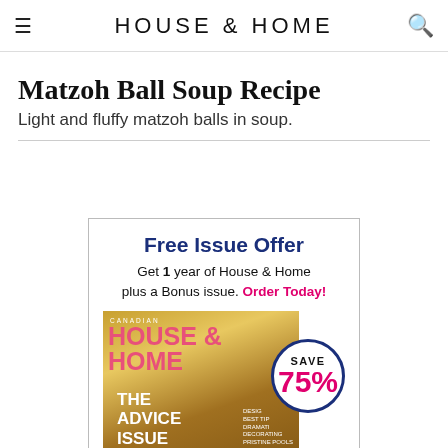HOUSE & HOME
Matzoh Ball Soup Recipe
Light and fluffy matzoh balls in soup.
[Figure (infographic): Advertisement for House & Home magazine subscription. Shows 'Free Issue Offer' in blue bold text, body text 'Get 1 year of House & Home plus a Bonus issue. Order Today!' with 'Order Today!' in pink, a magazine cover image with The Advice Issue, a circle badge showing SAVE 75%, and a navy blue footer bar with 'SUBSCRIBE NOW!']